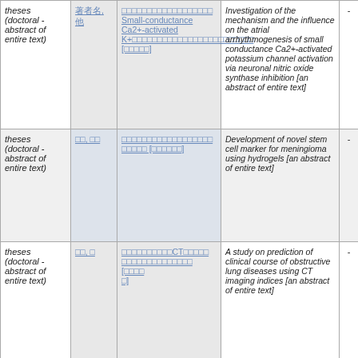| Type | Author | Title (Japanese) | Title (English) |  |
| --- | --- | --- | --- | --- |
| theses (doctoral - abstract of entire text) | 著者名, 他 | Small-conductance Ca2+-activated K+チャネル活性化の心房不整脈原性への影響 [全文掲載] | Investigation of the mechanism and the influence on the atrial arrhythmogenesis of small conductance Ca2+-activated potassium channel activation via neuronal nitric oxide synthase inhibition [an abstract of entire text] | - |
| theses (doctoral - abstract of entire text) | 著者名, 他 | 幹細胞マーカーを用いたメニンギオーマの新規マーカーの開発 [全文掲載] | Development of novel stem cell marker for meningioma using hydrogels [an abstract of entire text] | - |
| theses (doctoral - abstract of entire text) | 著者名, 他 | CT画像解析指標を用いた閉塞性肺疾患の臨床経過予測に関する研究 [全文掲載] | A study on prediction of clinical course of obstructive lung diseases using CT imaging indices [an abstract of entire text] | - |
| theses (doctoral - abstract of entire text) |  |  | Development of |  |